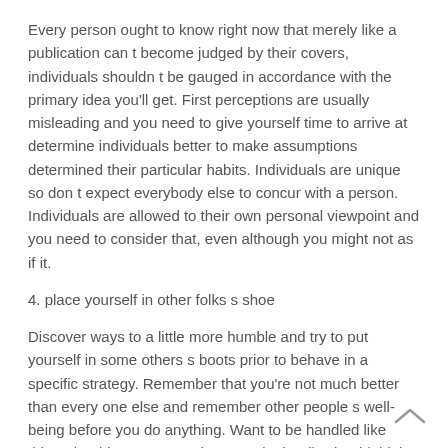Every person ought to know right now that merely like a publication can t become judged by their covers, individuals shouldn t be gauged in accordance with the primary idea you’ll get. First perceptions are usually misleading and you need to give yourself time to arrive at determine individuals better to make assumptions determined their particular habits. Individuals are unique so don t expect everybody else to concur with a person. Individuals are allowed to their own personal viewpoint and you need to consider that, even although you might not as if it.
4. place yourself in other folks s shoe
Discover ways to a little more humble and try to put yourself in some others s boots prior to behave in a specific strategy. Remember that you’re not much better than every one else and remember other people s well-being before you do anything. Want to be handled like this? Should your answer is no, undoubtedly should think before doing something that could injure people s thinking.
5. find out how to generally be a beneficial attender
The easiest way to determine ways to be much more empathetic and also to halt being mean with folks try definitely, by learning to